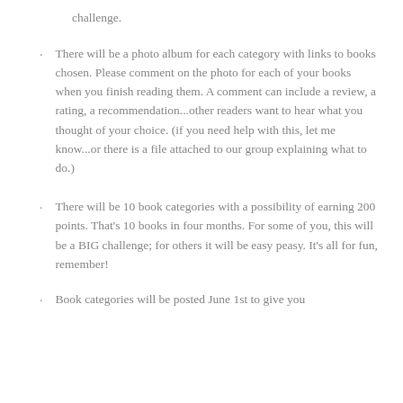challenge.
There will be a photo album for each category with links to books chosen.  Please comment on the photo for each of your books when you finish reading them.  A comment can include a review, a rating, a recommendation...other readers want to hear what you thought of your choice.  (if you need help with this, let me know...or there is a file attached to our group explaining what to do.)
There will be 10 book categories with a possibility of earning 200 points.  That's 10 books in four months.  For some of you, this will be a BIG challenge; for others it will be easy peasy.  It's all for fun, remember!
Book categories will be posted June 1st to give you